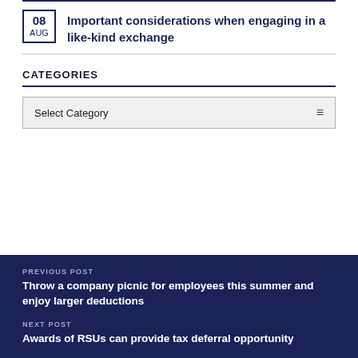08 AUG — Important considerations when engaging in a like-kind exchange
CATEGORIES
Select Category
PREVIOUS POST
Throw a company picnic for employees this summer and enjoy larger deductions
NEXT POST
Awards of RSUs can provide tax deferral opportunity